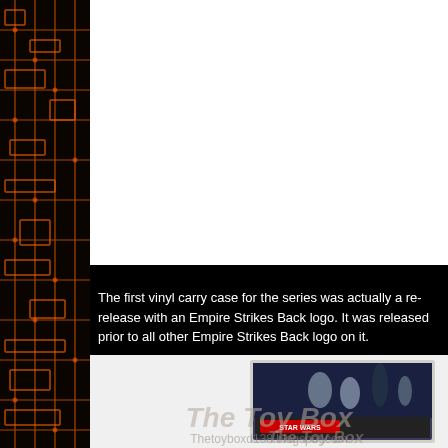The Toy Box
Thetoyboxd138.blogspot.com
The first vinyl carry case for the series was actually a re-release with an Empire Strikes Back logo. It was released prior to all other Empire Strikes Back logo on it.
[Figure (photo): Star Wars vinyl carry case with Empire Strikes Back logo showing characters including C-3PO, R2-D2, Darth Vader and rebel characters on the box art.]
The Toy Box
Thetoyboxd138.blogspot.com